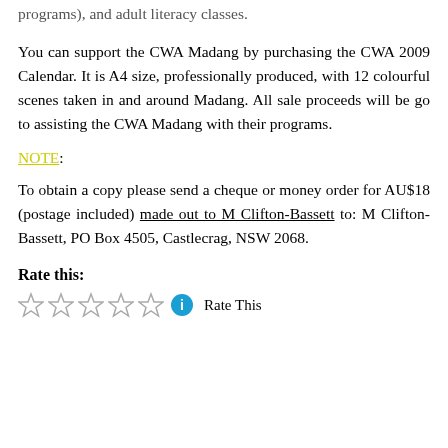programs), and adult literacy classes.
You can support the CWA Madang by purchasing the CWA 2009 Calendar. It is A4 size, professionally produced, with 12 colourful scenes taken in and around Madang. All sale proceeds will be go to assisting the CWA Madang with their programs.
NOTE:
To obtain a copy please send a cheque or money order for AU$18 (postage included) made out to M Clifton-Bassett to: M Clifton-Bassett, PO Box 4505, Castlecrag, NSW 2068.
Rate this:
Rate This